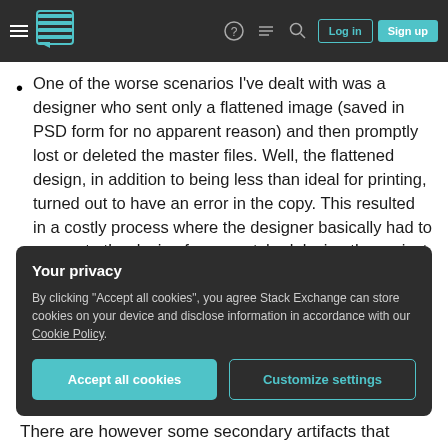Stack Exchange navigation bar with hamburger menu, logo, help, chat, search icons, Log in and Sign up buttons
One of the worse scenarios I've dealt with was a designer who sent only a flattened image (saved in PSD form for no apparent reason) and then promptly lost or deleted the master files. Well, the flattened design, in addition to being less than ideal for printing, turned out to have an error in the copy. This resulted in a costly process where the designer basically had to re-create the design from scratch, delaying the project.
Your privacy
By clicking "Accept all cookies", you agree Stack Exchange can store cookies on your device and disclose information in accordance with our Cookie Policy.
Accept all cookies   Customize settings
There are however some secondary artifacts that